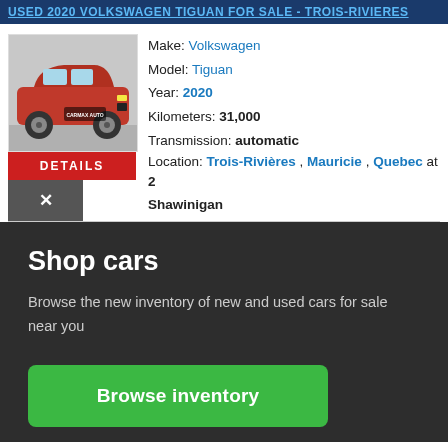USED 2020 VOLKSWAGEN TIGUAN FOR SALE - TROIS-RIVIERES
[Figure (photo): Orange/red 2020 Volkswagen Tiguan SUV with dealership overlay logo]
Make: Volkswagen
Model: Tiguan
Year: 2020
Kilometers: 31,000
Transmission: automatic
Location: Trois-Rivières , Mauricie , Quebec at 2 Shawinigan
Shop cars
Browse the new inventory of new and used cars for sale near you
Browse inventory